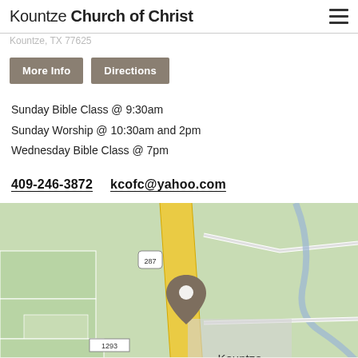Kountze Church of Christ
Kountze, TX 77625
More Info | Directions
Sunday Bible Class @ 9:30am
Sunday Worship @ 10:30am and 2pm
Wednesday Bible Class @ 7pm
409-246-3872    kcofc@yahoo.com
[Figure (map): Google Map showing location of Kountze Church of Christ in Kountze, TX. Shows highway 287 and 1293, with a map pin marker at the church location. Town label 'Kountze' visible. Map footer shows 'Google', 'Keyboard shortcuts', 'Map data ©2022 Google', 'Terms of Use'.]